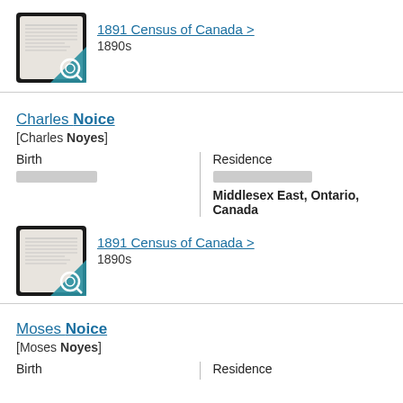[Figure (screenshot): Thumbnail image of 1891 Census of Canada document with teal magnifying glass overlay]
1891 Census of Canada > 1890s
Charles Noice [Charles Noyes]
Birth
Residence
Middlesex East, Ontario, Canada
[Figure (screenshot): Thumbnail image of 1891 Census of Canada document with teal magnifying glass overlay]
1891 Census of Canada > 1890s
Moses Noice [Moses Noyes]
Birth
Residence